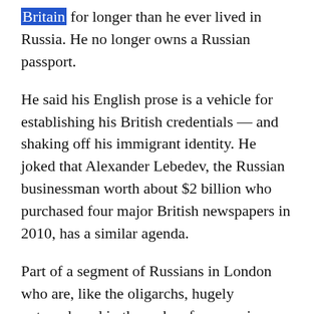Britain for longer than he ever lived in Russia. He no longer owns a Russian passport.
He said his English prose is a vehicle for establishing his British credentials — and shaking off his immigrant identity. He joked that Alexander Lebedev, the Russian businessman worth about $2 billion who purchased four major British newspapers in 2010, has a similar agenda.
Part of a segment of Russians in London who are, like the oligarchs, hugely outnumbered in the wake of economic migrations over the last two decades, Zinik conceded that there may be one issue that draws Russians in London together.